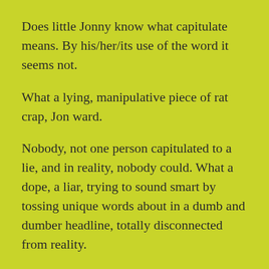Does little Jonny know what capitulate means. By his/her/its use of the word it seems not.
What a lying, manipulative piece of rat crap, Jon ward.
Nobody, not one person capitulated to a lie, and in reality, nobody could. What a dope, a liar, trying to sound smart by tossing unique words about in a dumb and dumber headline, totally disconnected from reality.
The reason cheney is out is because she is a lying, hag.
Not a shred of evidence that President Trump incited a thing, but the dementocrats, Jonny boy ere, all hist and disfigure words to make their fake cases and reports.
A football player is someone who plays football. A